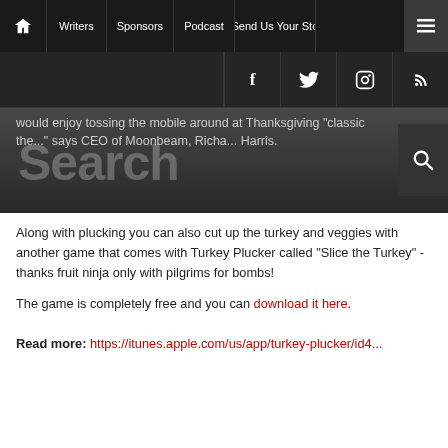Home | Writers | Sponsors | Podcast | Send Us Your Sto... | [menu]
[Figure (screenshot): Social media icon bar with Facebook, Twitter, Instagram, and RSS icons on dark background]
would enjoy tossing the mobile around at Thanksgiving "classic the..." says CEO of Moonbeam, Richa... Harris.
Along with plucking you can also cut up the turkey and veggies with another game that comes with Turkey Plucker called "Slice the Turkey" - thanks fruit ninja only with pilgrims for bombs!
The game is completely free and you can download it here.
Read more: https://itunes.apple.com/us/app/turkey-plucker/id4...